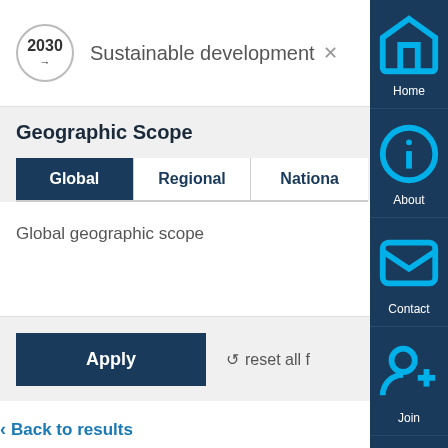[Figure (screenshot): 2030 Agenda logo circle with year and arrow, showing 'Sustainable development' filter tag with X to remove]
Geographic Scope
Global | Regional | National (tabs)
Global geographic scope
Apply
reset all f
Back to results
[Figure (screenshot): Right-side navigation sidebar with Home, About, Contact, Join, Sign In, Help icons in dark navy blue]